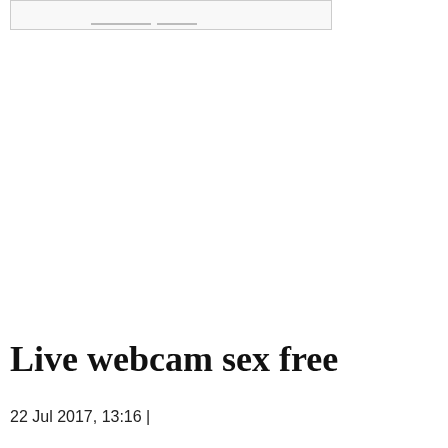[Figure (other): Partially visible image or screenshot at the top of the page, cut off, showing faint lines and borders]
Live webcam sex free
22 Jul 2017, 13:16 |